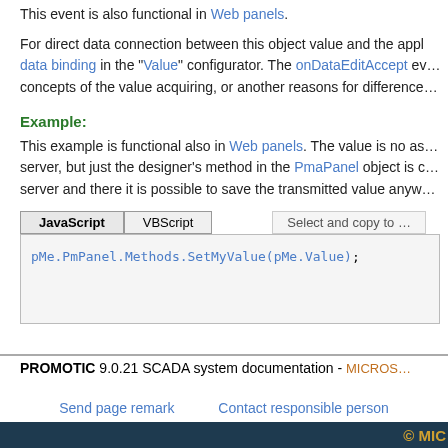This event is also functional in Web panels.
For direct data connection between this object value and the appl... data binding in the "Value" configurator. The onDataEditAccept ev... concepts of the value acquiring, or another reasons for difference...
Example:
This example is functional also in Web panels. The value is no as... server, but just the designer's method in the PmaPanel object is c... server and there it is possible to save the transmitted value anyw...
[Figure (screenshot): Code tabs showing JavaScript and VBScript buttons, with a code box containing: pMe.PmPanel.Methods.SetMyValue(pMe.Value);]
PROMOTIC 9.0.21 SCADA system documentation - MICROS...
Send page remark    Contact responsible person
© MIC